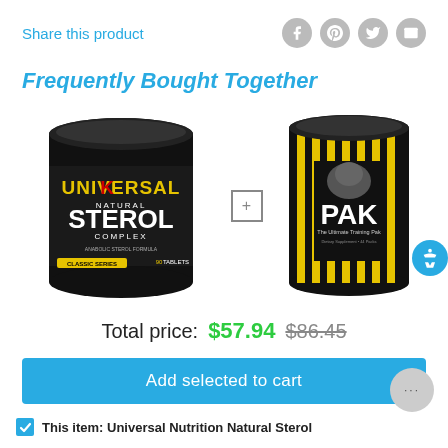Share this product
Frequently Bought Together
[Figure (photo): Two supplement products: Universal Nutrition Natural Sterol Complex (black tub) and Animal PAK (black canister with yellow stripes), shown side by side with a plus sign between them.]
Total price: $57.94 $86.45
Add selected to cart
This item: Universal Nutrition Natural Sterol